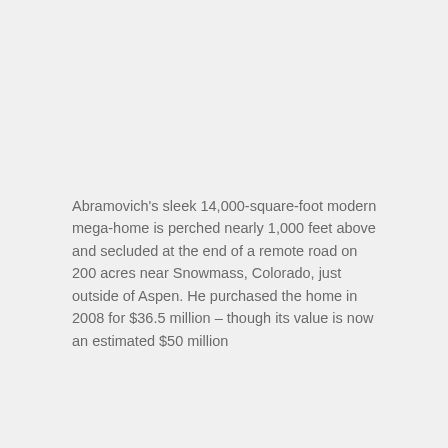Abramovich's sleek 14,000-square-foot modern mega-home is perched nearly 1,000 feet above and secluded at the end of a remote road on 200 acres near Snowmass, Colorado, just outside of Aspen. He purchased the home in 2008 for $36.5 million – though its value is now an estimated $50 million